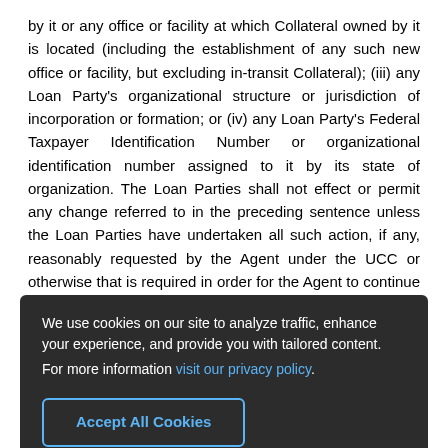by it or any office or facility at which Collateral owned by it is located (including the establishment of any such new office or facility, but excluding in-transit Collateral); (iii) any Loan Party's organizational structure or jurisdiction of incorporation or formation; or (iv) any Loan Party's Federal Taxpayer Identification Number or organizational identification number assigned to it by its state of organization. The Loan Parties shall not effect or permit any change referred to in the preceding sentence unless the Loan Parties have undertaken all such action, if any, reasonably requested by the Agent under the UCC or otherwise that is required in order for the Agent to continue at all times following such
[Figure (other): Cookie consent overlay dialog with dark background. Text reads: 'We use cookies on our site to analyze traffic, enhance your experience, and provide you with tailored content. For more information visit our privacy policy.' Button: 'Accept All Cookies']
and safeguard Confidential Information in accordance